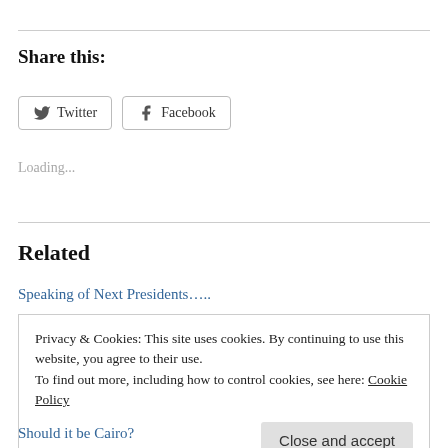Share this:
Twitter  Facebook
Loading...
Related
Speaking of Next Presidents…..
Privacy & Cookies: This site uses cookies. By continuing to use this website, you agree to their use.
To find out more, including how to control cookies, see here: Cookie Policy
Close and accept
Should it be Cairo?